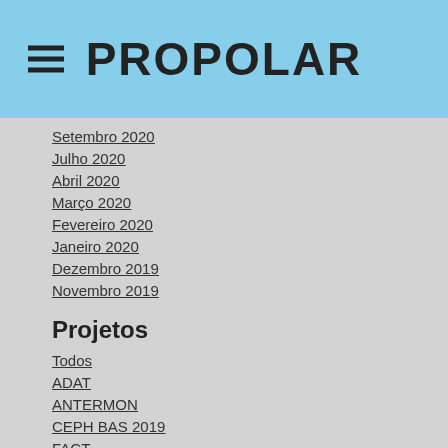PROPOLAR
Setembro 2020
Julho 2020
Abril 2020
Março 2020
Fevereiro 2020
Janeiro 2020
Dezembro 2019
Novembro 2019
Projetos
Todos
ADAT
ANTERMON
CEPH BAS 2019
FACT
Lichen Early Meter 2
PERMANTAR